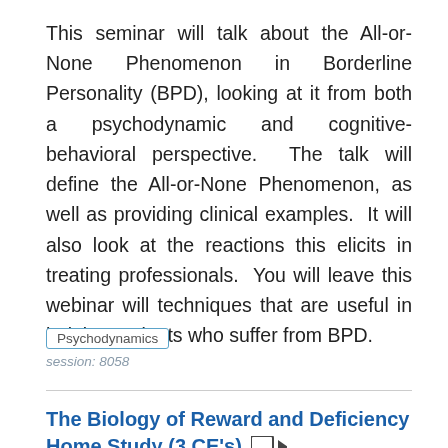This seminar will talk about the All-or-None Phenomenon in Borderline Personality (BPD), looking at it from both a psychodynamic and cognitive-behavioral perspective.  The talk will define the All-or-None Phenomenon, as well as providing clinical examples.  It will also look at the reactions this elicits in treating professionals.  You will leave this webinar will techniques that are useful in helping patients who suffer from BPD.
Psychodynamics
session: 8058
The Biology of Reward and Deficiency Home Study (3 CE's)